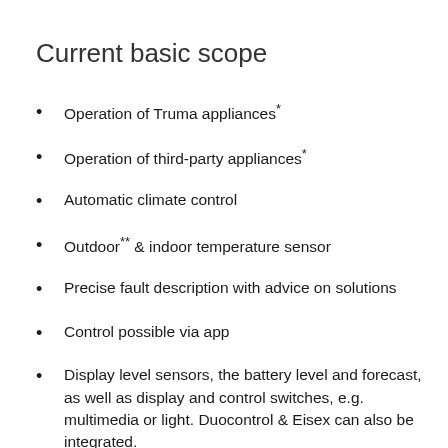Current basic scope
Operation of Truma appliances*
Operation of third-party appliances*
Automatic climate control
Outdoor** & indoor temperature sensor
Precise fault description with advice on solutions
Control possible via app
Display level sensors, the battery level and forecast, as well as display and control switches, e.g. multimedia or light. Duocontrol & Eisex can also be integrated.